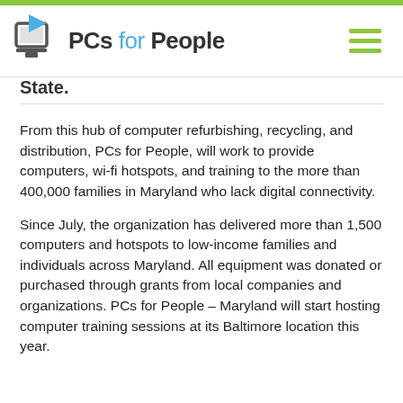[Figure (logo): PCs for People logo with icon and navigation hamburger menu]
State.
From this hub of computer refurbishing, recycling, and distribution, PCs for People, will work to provide computers, wi-fi hotspots, and training to the more than 400,000 families in Maryland who lack digital connectivity.
Since July, the organization has delivered more than 1,500 computers and hotspots to low-income families and individuals across Maryland. All equipment was donated or purchased through grants from local companies and organizations. PCs for People – Maryland will start hosting computer training sessions at its Baltimore location this year.